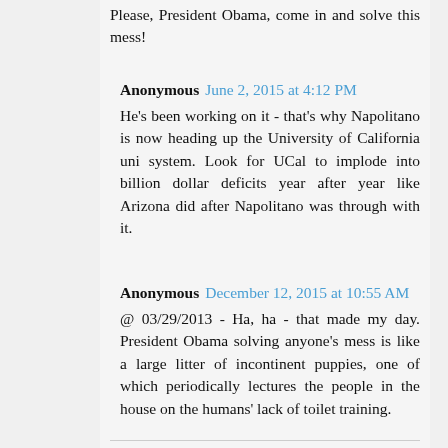Please, President Obama, come in and solve this mess!
Anonymous  June 2, 2015 at 4:12 PM
He's been working on it - that's why Napolitano is now heading up the University of California uni system. Look for UCal to implode into billion dollar deficits year after year like Arizona did after Napolitano was through with it.
Anonymous  December 12, 2015 at 10:55 AM
@ 03/29/2013 - Ha, ha - that made my day. President Obama solving anyone's mess is like a large litter of incontinent puppies, one of which periodically lectures the people in the house on the humans' lack of toilet training.
Reply